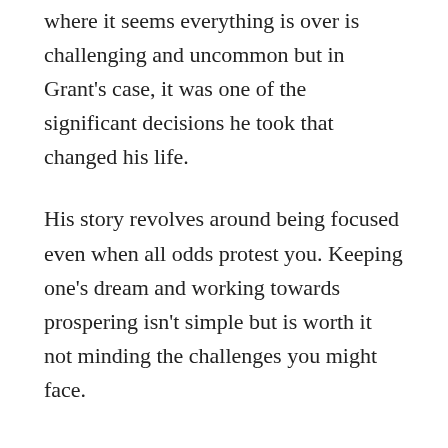where it seems everything is over is challenging and uncommon but in Grant's case, it was one of the significant decisions he took that changed his life.
His story revolves around being focused even when all odds protest you. Keeping one's dream and working towards prospering isn't simple but is worth it not minding the challenges you might face.
Grant faced difficulties both in his childhood and his career however he never lost his dream of becoming successful. He worked towards it and that was the typical drug user Grant Cardone turned into one of the most successful and wealthiest characters.